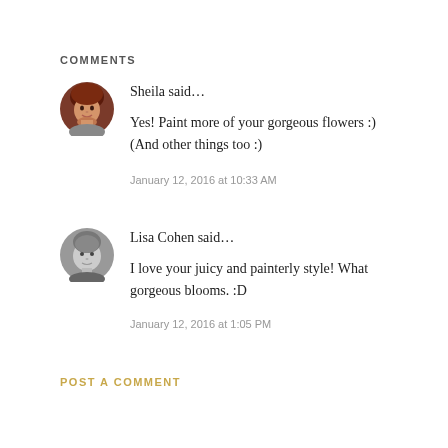COMMENTS
[Figure (photo): Round avatar photo of Sheila, a woman with red/brown hair]
Sheila said...
Yes! Paint more of your gorgeous flowers :) (And other things too :)
January 12, 2016 at 10:33 AM
[Figure (photo): Round avatar photo of Lisa Cohen, a grayscale profile image]
Lisa Cohen said...
I love your juicy and painterly style! What gorgeous blooms. :D
January 12, 2016 at 1:05 PM
POST A COMMENT